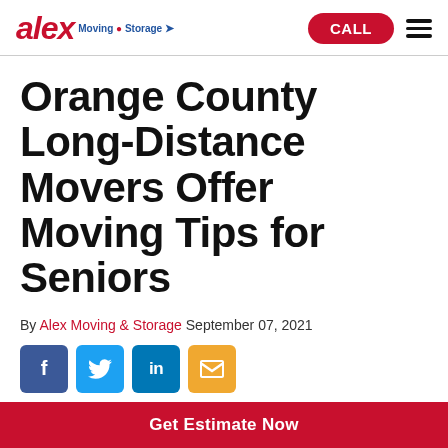alex Moving & Storage | CALL
Orange County Long-Distance Movers Offer Moving Tips for Seniors
By Alex Moving & Storage September 07, 2021
[Figure (other): Social share icons: Facebook, Twitter, LinkedIn, Email]
[Figure (photo): Partial photo of a building exterior]
Get Estimate Now